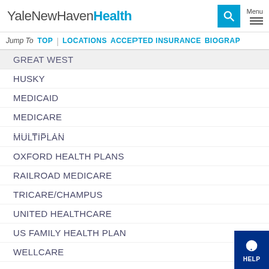YaleNewHavenHealth
Jump To  TOP  |  LOCATIONS  ACCEPTED INSURANCE  BIOGRA...
GREAT WEST
HUSKY
MEDICAID
MEDICARE
MULTIPLAN
OXFORD HEALTH PLANS
RAILROAD MEDICARE
TRICARE/CHAMPUS
UNITED HEALTHCARE
US FAMILY HEALTH PLAN
WELLCARE